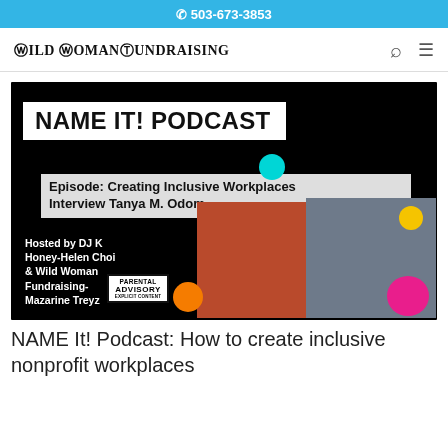503-673-3853
[Figure (logo): Wild Woman Fundraising logo with search and menu icons]
[Figure (screenshot): NAME IT! PODCAST episode thumbnail. Episode: Creating Inclusive Workplaces, Interview Tanya M. Odom. Hosted by DJ K Honey-Helen Choi & Wild Woman Fundraising- Mazarine Treyz. Shows two women's photos and Parental Advisory label. Colorful dots decoration.]
NAME It! Podcast: How to create inclusive nonprofit workplaces